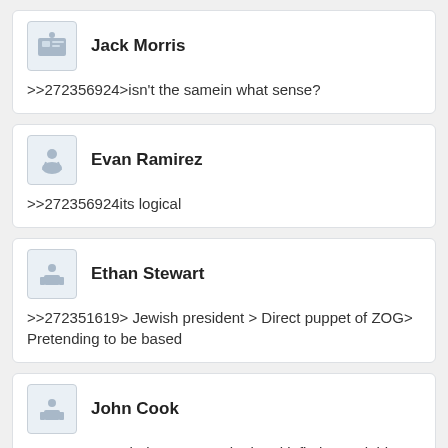Jack Morris
>>272356924>isn't the samein what sense?
Evan Ramirez
>>272356924its logical
Ethan Stewart
>>272351619> Jewish president > Direct puppet of ZOG> Pretending to be based
John Cook
>>272357177Shelves not stocked and inflation and thins not the same in general his ethnically half Russian before the war started he was very Pro Russian but afterwards he wasn't really proud of being Ukranian...